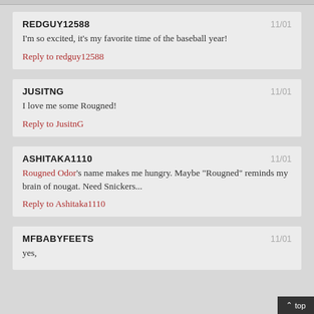REDGUY12588 | 11/01
I'm so excited, it's my favorite time of the baseball year!
Reply to redguy12588
JUSITNG | 11/01
I love me some Rougned!
Reply to JusitnG
ASHITAKA1110 | 11/01
Rougned Odor's name makes me hungry. Maybe "Rougned" reminds my brain of nougat. Need Snickers...
Reply to Ashitaka1110
MFBABYFEETS | 11/01
yes,